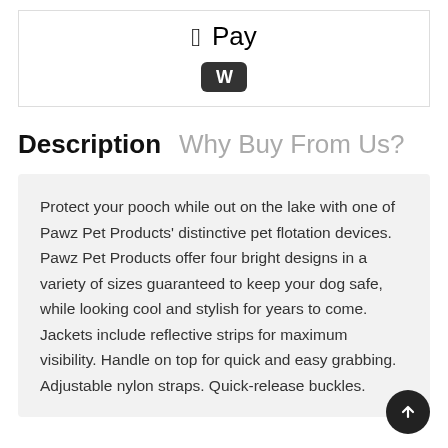[Figure (logo): Apple Pay logo and Woopay button displayed inside a bordered box]
Description   Why Buy From Us?
Protect your pooch while out on the lake with one of Pawz Pet Products' distinctive pet flotation devices. Pawz Pet Products offer four bright designs in a variety of sizes guaranteed to keep your dog safe, while looking cool and stylish for years to come. Jackets include reflective strips for maximum visibility. Handle on top for quick and easy grabbing. Adjustable nylon straps. Quick-release buckles.